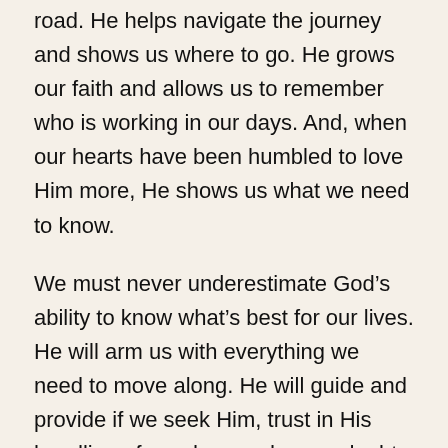road. He helps navigate the journey and shows us where to go. He grows our faith and allows us to remember who is working in our days. And, when our hearts have been humbled to love Him more, He shows us what we need to know.
We must never underestimate God’s ability to know what’s best for our lives. He will arm us with everything we need to move along. He will guide and provide if we seek Him, trust in His handling of our days and never doubt His ability to grow us.
Great things will happen in the timing of His will!